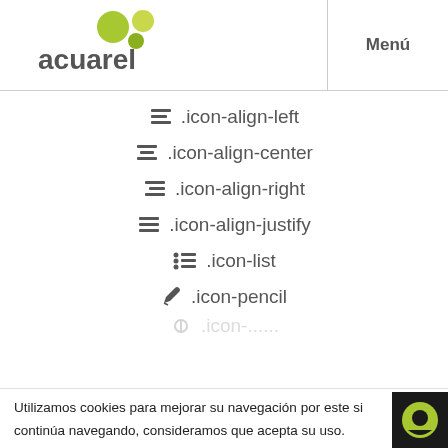[Figure (logo): Acuarel logo with green circles and grey text]
Menú
≡ .icon-align-left
≡ .icon-align-center
≡ .icon-align-right
≡ .icon-align-justify
≡ .icon-list
✏ .icon-pencil
Utilizamos cookies para mejorar su navegación por este sitio. Si continúa navegando, consideramos que acepta su uso.